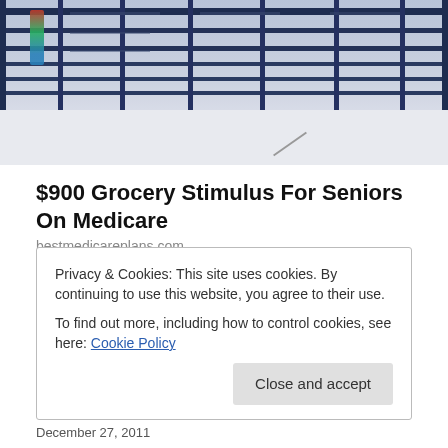[Figure (photo): Photo of a building with dark horizontal and vertical railings/bars visible, with a snowy or white background below. A person in colorful clothing visible at upper left.]
$900 Grocery Stimulus For Seniors On Medicare
bestmedicareplans.com
Share this:
Email  Facebook  Twitter
Loading...
Privacy & Cookies: This site uses cookies. By continuing to use this website, you agree to their use.
To find out more, including how to control cookies, see here: Cookie Policy
Close and accept
December 27, 2011